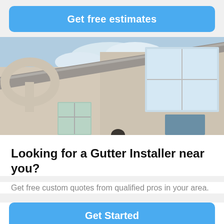Get free estimates
[Figure (photo): Close-up photo of a house exterior showing gutter installation along roofline, with stucco walls, windows, and cloudy sky in the background.]
Looking for a Gutter Installer near you?
Get free custom quotes from qualified pros in your area.
Get Started